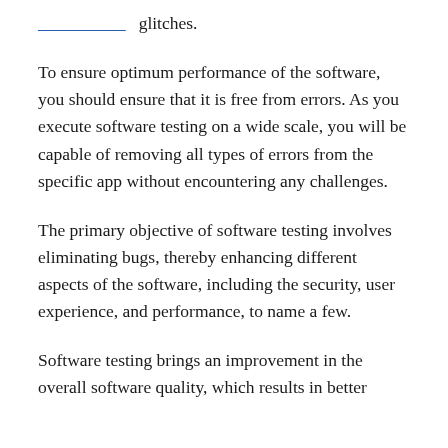glitches.
To ensure optimum performance of the software, you should ensure that it is free from errors. As you execute software testing on a wide scale, you will be capable of removing all types of errors from the specific app without encountering any challenges.
The primary objective of software testing involves eliminating bugs, thereby enhancing different aspects of the software, including the security, user experience, and performance, to name a few.
Software testing brings an improvement in the overall software quality, which results in better